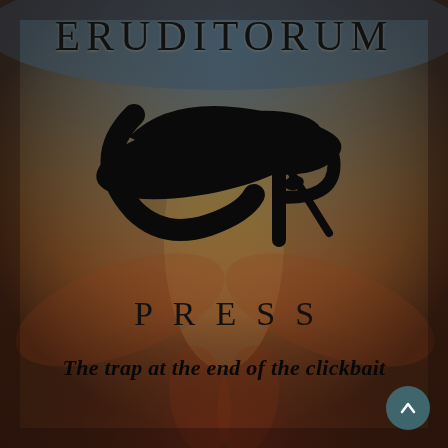[Figure (logo): Eruditorum Press logo page with background painting of a figure (William Blake style) in muted dark teal, ochre, and burgundy tones. A stylized calligraphic EP monogram logo in black is centered. Text overlays show ERUDITORUM at top, PRESS below the logo, and an italic tagline at the bottom.]
ERUDITORUM
PRESS
The trap at the end of the clickbait